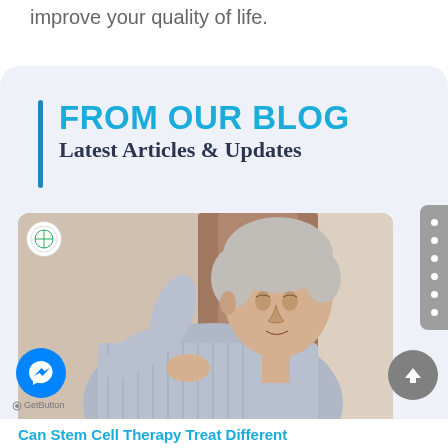improve your quality of life.
FROM OUR BLOG
Latest Articles & Updates
[Figure (photo): Older man with grey hair reaching behind his back in pain, suggesting back pain or musculoskeletal discomfort. A logo badge is visible in the top left corner of the image.]
Can Stem Cell Therapy Treat Different